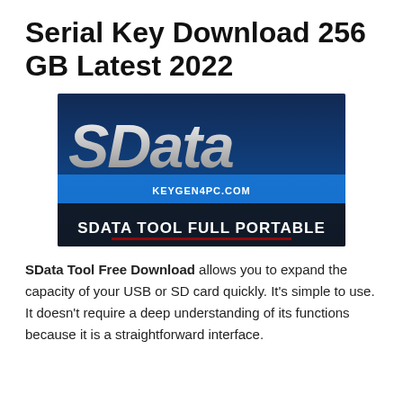Serial Key Download 256 GB Latest 2022
[Figure (screenshot): SData Tool Full Portable logo image with blue background showing 'SDATA' text in large white letters, 'KEYGEN4PC.COM' watermark, and 'SDATA TOOL FULL PORTABLE' banner at bottom]
SData Tool Free Download allows you to expand the capacity of your USB or SD card quickly. It's simple to use. It doesn't require a deep understanding of its functions because it is a straightforward interface.